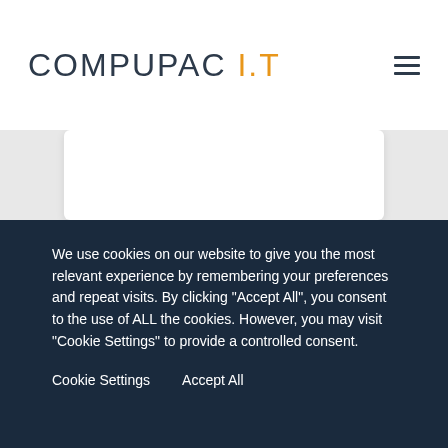COMPUPAC I.T
[Figure (other): Partial white card visible at top of content area]
Dedicated Business Fibre
We use cookies on our website to give you the most relevant experience by remembering your preferences and repeat visits. By clicking "Accept All", you consent to the use of ALL the cookies. However, you may visit "Cookie Settings" to provide a controlled consent.
Cookie Settings
Accept All